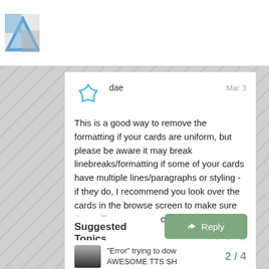[Figure (screenshot): Forum website logo/icon in top navigation bar]
dae  Mar 3
This is a good way to remove the formatting if your cards are uniform, but please be aware it may break linebreaks/formatting if some of your cards have multiple lines/paragraphs or styling - if they do, I recommend you look over the cards in the browse screen to make sure they still appear correctly.
Suggested Topics
“Error” trying to dow
AWESOME TTS SH
2 / 4